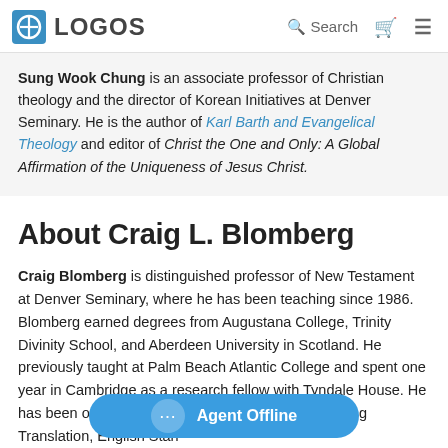LOGOS | Search
Sung Wook Chung is an associate professor of Christian theology and the director of Korean Initiatives at Denver Seminary. He is the author of Karl Barth and Evangelical Theology and editor of Christ the One and Only: A Global Affirmation of the Uniqueness of Jesus Christ.
About Craig L. Blomberg
Craig Blomberg is distinguished professor of New Testament at Denver Seminary, where he has been teaching since 1986. Blomberg earned degrees from Augustana College, Trinity Divinity School, and Aberdeen University in Scotland. He previously taught at Palm Beach Atlantic College and spent one year in Cambridge as a research fellow with Tyndale House. He has been on translation committees for the New Living Translation, English Standard Version, and Christian Standard Bible.